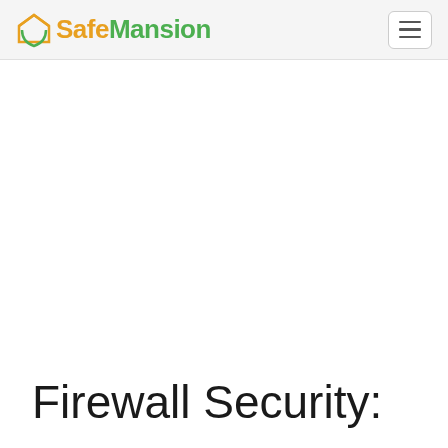SafeMansion
Firewall Security: